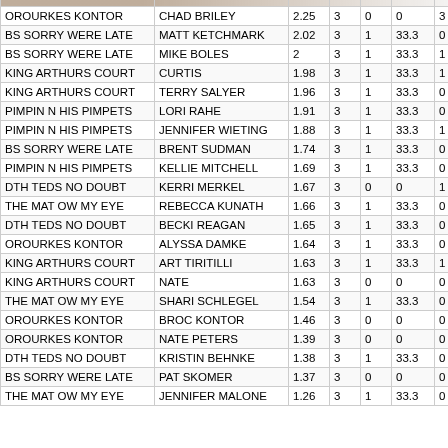| TEAM | NAME | AVG | G | 1 | PCT | ? |
| --- | --- | --- | --- | --- | --- | --- |
| OROURKES KONTOR | CHAD BRILEY | 2.25 | 3 | 0 | 0 | 3 |
| BS SORRY WERE LATE | MATT KETCHMARK | 2.02 | 3 | 1 | 33.3 | 0 |
| BS SORRY WERE LATE | MIKE BOLES | 2 | 3 | 1 | 33.3 | 1 |
| KING ARTHURS COURT | CURTIS | 1.98 | 3 | 1 | 33.3 | 1 |
| KING ARTHURS COURT | TERRY SALYER | 1.96 | 3 | 1 | 33.3 | 0 |
| PIMPIN N HIS PIMPETS | LORI RAHE | 1.91 | 3 | 1 | 33.3 | 0 |
| PIMPIN N HIS PIMPETS | JENNIFER WIETING | 1.88 | 3 | 1 | 33.3 | 1 |
| BS SORRY WERE LATE | BRENT SUDMAN | 1.74 | 3 | 1 | 33.3 | 0 |
| PIMPIN N HIS PIMPETS | KELLIE MITCHELL | 1.69 | 3 | 1 | 33.3 | 0 |
| DTH TEDS NO DOUBT | KERRI MERKEL | 1.67 | 3 | 0 | 0 | 1 |
| THE MAT OW MY EYE | REBECCA KUNATH | 1.66 | 3 | 1 | 33.3 | 0 |
| DTH TEDS NO DOUBT | BECKI REAGAN | 1.65 | 3 | 1 | 33.3 | 0 |
| OROURKES KONTOR | ALYSSA DAMKE | 1.64 | 3 | 1 | 33.3 | 0 |
| KING ARTHURS COURT | ART TIRITILLI | 1.63 | 3 | 1 | 33.3 | 1 |
| KING ARTHURS COURT | NATE | 1.63 | 3 | 0 | 0 | 0 |
| THE MAT OW MY EYE | SHARI SCHLEGEL | 1.54 | 3 | 1 | 33.3 | 0 |
| OROURKES KONTOR | BROC KONTOR | 1.46 | 3 | 0 | 0 | 0 |
| OROURKES KONTOR | NATE PETERS | 1.39 | 3 | 0 | 0 | 0 |
| DTH TEDS NO DOUBT | KRISTIN BEHNKE | 1.38 | 3 | 1 | 33.3 | 0 |
| BS SORRY WERE LATE | PAT SKOMER | 1.37 | 3 | 0 | 0 | 0 |
| THE MAT OW MY EYE | JENNIFER MALONE | 1.26 | 3 | 1 | 33.3 | 0 |